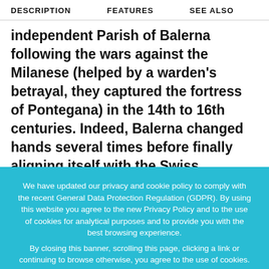DESCRIPTION   FEATURES   SEE ALSO
independent Parish of Balerna following the wars against the Milanese (helped by a warden's betrayal, they captured the fortress of Pontegana) in the 14th to 16th centuries. Indeed, Balerna changed hands several times before finally aligning itself with the Swiss
We have updated our privacy and cookie policy to comply with the recent General Data Protection Regulation (GDPR). By using this website you agree to the new Privacy Policy and to the use of cookies for analytical purposes and to provide you with the best browsing experience.
By closing this banner, scrolling this page, clicking a link or continuing to browse otherwise, you agree to the use of cookies.